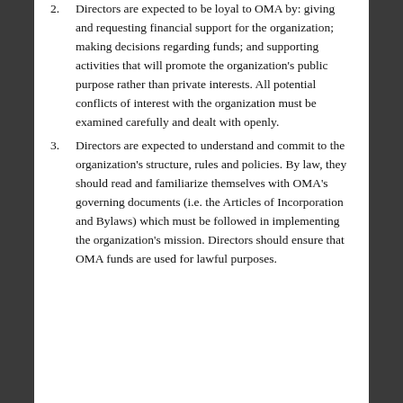2. Directors are expected to be loyal to OMA by: giving and requesting financial support for the organization; making decisions regarding funds; and supporting activities that will promote the organization's public purpose rather than private interests. All potential conflicts of interest with the organization must be examined carefully and dealt with openly.
3. Directors are expected to understand and commit to the organization's structure, rules and policies. By law, they should read and familiarize themselves with OMA's governing documents (i.e. the Articles of Incorporation and Bylaws) which must be followed in implementing the organization's mission. Directors should ensure that OMA funds are used for lawful purposes.